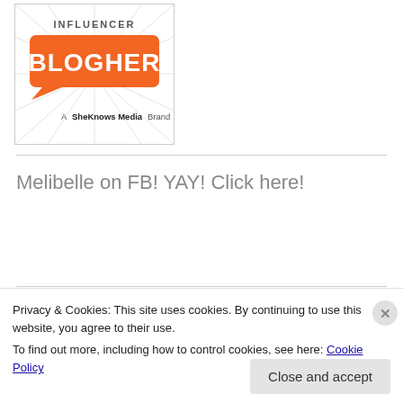[Figure (logo): BlogHer Influencer badge — orange speech bubble with BLOGHER text, sunburst background, 'A SheKnows Media Brand' text below]
Melibelle on FB! YAY! Click here!
[Figure (photo): Three circular profile photo thumbnails partially visible at bottom of page]
Privacy & Cookies: This site uses cookies. By continuing to use this website, you agree to their use.
To find out more, including how to control cookies, see here: Cookie Policy
Close and accept